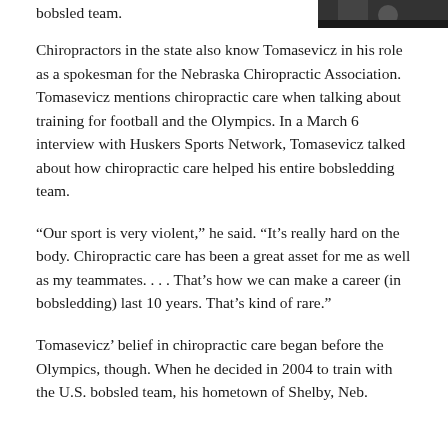bobsled team.
[Figure (photo): Partial black and white photo visible in top right corner, cropped]
Chiropractors in the state also know Tomasevicz in his role as a spokesman for the Nebraska Chiropractic Association. Tomasevicz mentions chiropractic care when talking about training for football and the Olympics. In a March 6 interview with Huskers Sports Network, Tomasevicz talked about how chiropractic care helped his entire bobsledding team.
“Our sport is very violent,” he said. “It’s really hard on the body. Chiropractic care has been a great asset for me as well as my teammates. . . . That’s how we can make a career (in bobsledding) last 10 years. That’s kind of rare.”
Tomasevicz’ belief in chiropractic care began before the Olympics, though. When he decided in 2004 to train with the U.S. bobsled team, his hometown of Shelby, Neb.